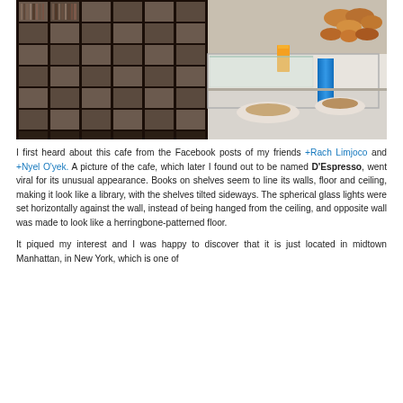[Figure (photo): Interior photo of D'Espresso cafe showing bookshelves on the left side stacked with books/magazines in a grid pattern, and a glass display counter on the right side with pastries and drinks including orange juice.]
I first heard about this cafe from the Facebook posts of my friends +Rach Limjoco and +Nyel O'yek. A picture of the cafe, which later I found out to be named D'Espresso, went viral for its unusual appearance. Books on shelves seem to line its walls, floor and ceiling, making it look like a library, with the shelves tilted sideways. The spherical glass lights were set horizontally against the wall, instead of being hanged from the ceiling, and opposite wall was made to look like a herringbone-patterned floor.
It piqued my interest and I was happy to discover that it is just located in midtown Manhattan, in New York, which is one of